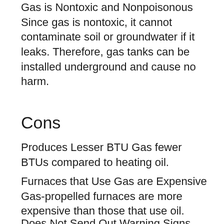Gas is Nontoxic and Nonpoisonous Since gas is nontoxic, it cannot contaminate soil or groundwater if it leaks. Therefore, gas tanks can be installed underground and cause no harm.
Cons
Produces Lesser BTU Gas fewer BTUs compared to heating oil.
Furnaces that Use Gas are Expensive Gas-propelled furnaces are more expensive than those that use oil.
Does Not Send Out Warning Signs